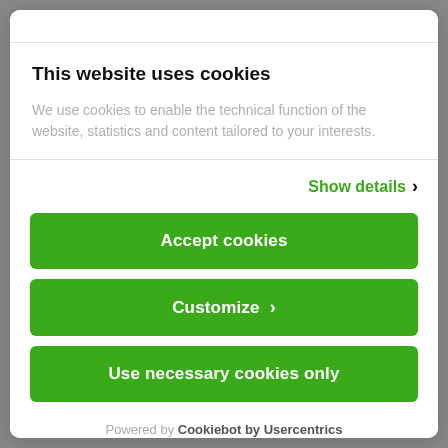This website uses cookies
We use cookies to enable the technical function of the website, statistics and content tailored to your interests.
Show details ›
Accept cookies
Customize ›
Use necessary cookies only
Powered by Cookiebot by Usercentrics